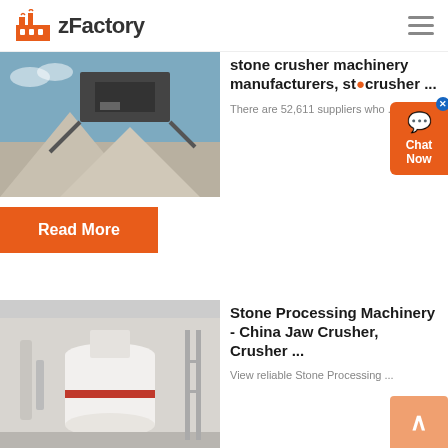zFactory
[Figure (photo): Outdoor stone crusher machinery with gravel piles and blue sky background]
stone crusher machinery manufacturers, stone crusher ...
There are 52,611 suppliers who ...
Read More
[Figure (photo): Indoor stone processing machinery - large white cylindrical equipment in factory]
Stone Processing Machinery - China Jaw Crusher, Crusher ...
View reliable Stone Processing ...